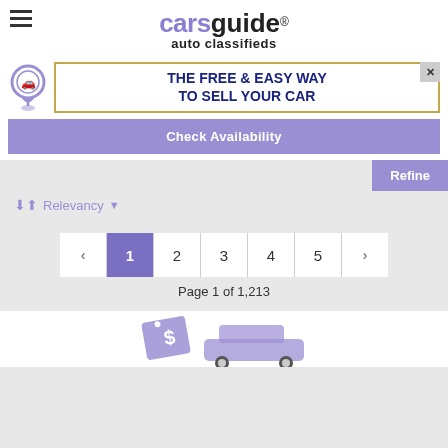[Figure (logo): CarsGuide auto classifieds logo with hamburger menu icon]
[Figure (infographic): Ad banner: medal icon, orange-bordered box with text THE FREE & EASY WAY TO SELL YOUR CAR, close button]
Check Availability
Refine
Relevancy
Page 1 of 1,213
[Figure (illustration): Car sale illustration with dollar sign tag and car icon at bottom of page]